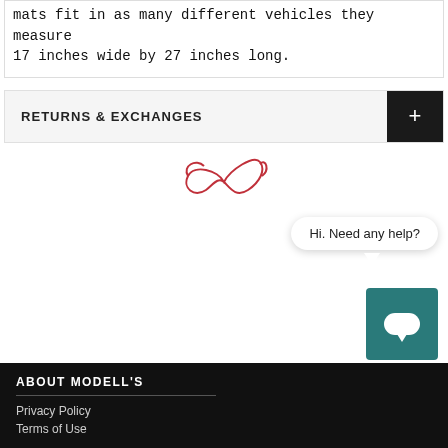wipe down with soap cloth. To try and make these mats fit in as many different vehicles they measure 17 inches wide by 27 inches long.
RETURNS & EXCHANGES
[Figure (logo): Red infinity-style script logo]
Hi. Need any help?
ABOUT MODELL'S
Privacy Policy
Terms of Use